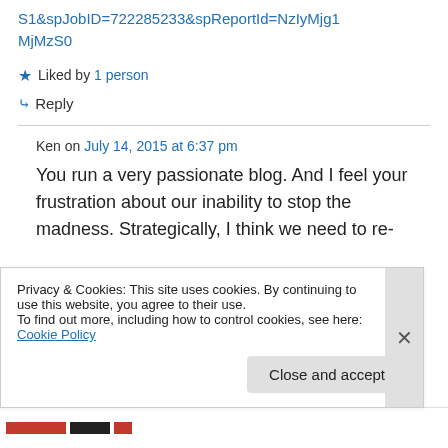S1&spJobID=722285233&spReportId=NzIyMjg1MjMzS0
★ Liked by 1 person
↳ Reply
Ken on July 14, 2015 at 6:37 pm
You run a very passionate blog. And I feel your frustration about our inability to stop the madness. Strategically, I think we need to re-
Privacy & Cookies: This site uses cookies. By continuing to use this website, you agree to their use.
To find out more, including how to control cookies, see here: Cookie Policy
Close and accept